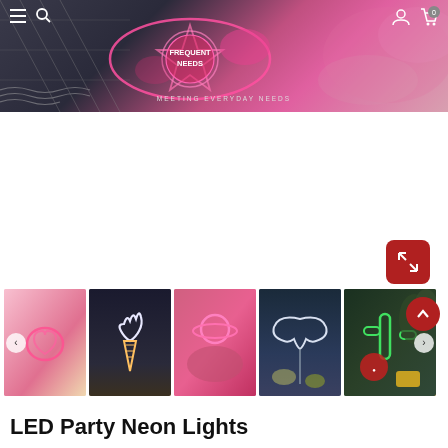[Figure (screenshot): E-commerce website header banner showing a neon-lit store called 'Frequent Needs' with tagline 'Meeting Everyday Needs'. Navigation icons (menu, search, user, cart with 0 badge) visible. Pink neon planet/star shapes glow in the banner background.]
[Figure (photo): Product image gallery thumbnails showing 5 LED neon light products: 1) pink neon heart/flower shape, 2) white neon ice cream cone on dark background, 3) pink neon cloud/planet held in hand, 4) white neon angel wings on stick in plant pot, 5) colorful neon cactus arrangement with red circle and yellow square on green background.]
LED Party Neon Lights